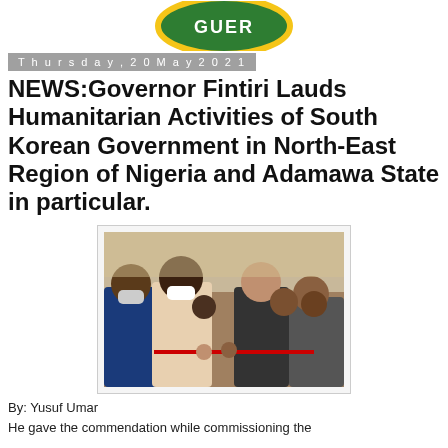[Figure (logo): Circular green and yellow logo with text partially visible at top of page]
Thursday, 20 May 2021
NEWS:Governor Fintiri Lauds Humanitarian Activities of South Korean Government in North-East Region of Nigeria and Adamawa State in particular.
[Figure (photo): Outdoor event photo showing officials cutting a red ribbon, with a crowd of people wearing face masks in the background]
By: Yusuf Umar
He gave the commendation while commissioning the